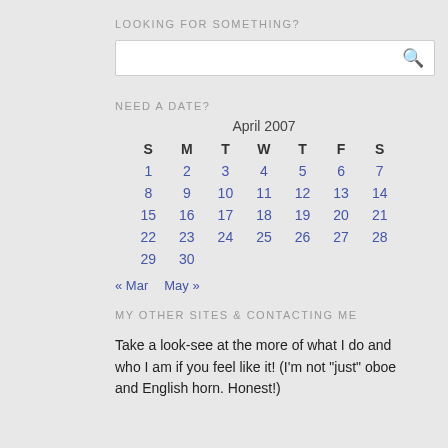LOOKING FOR SOMETHING?
[Figure (other): Search input box with magnifying glass icon]
NEED A DATE?
| S | M | T | W | T | F | S |
| --- | --- | --- | --- | --- | --- | --- |
| 1 | 2 | 3 | 4 | 5 | 6 | 7 |
| 8 | 9 | 10 | 11 | 12 | 13 | 14 |
| 15 | 16 | 17 | 18 | 19 | 20 | 21 |
| 22 | 23 | 24 | 25 | 26 | 27 | 28 |
| 29 | 30 |  |  |  |  |  |
« Mar    May »
MY OTHER SITES & CONTACTING ME
Take a look-see at the more of what I do and who I am if you feel like it! (I'm not "just" oboe and English horn. Honest!)